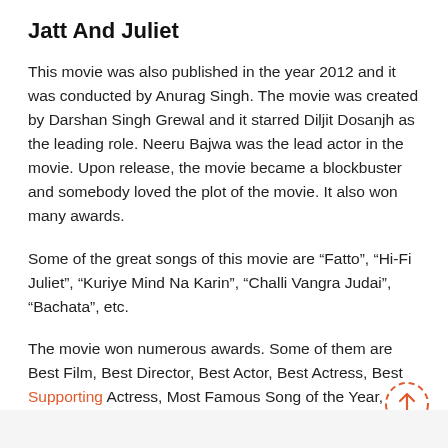Jatt And Juliet
This movie was also published in the year 2012 and it was conducted by Anurag Singh. The movie was created by Darshan Singh Grewal and it starred Diljit Dosanjh as the leading role. Neeru Bajwa was the lead actor in the movie. Upon release, the movie became a blockbuster and somebody loved the plot of the movie. It also won many awards.
Some of the great songs of this movie are “Fatto”, “Hi-Fi Juliet”, “Kuriye Mind Na Karin”, “Challi Vangra Judai”, “Bachata”, etc.
The movie won numerous awards. Some of them are Best Film, Best Director, Best Actor, Best Actress, Best Supporting Actress, Most Famous Song of the Year, etc.